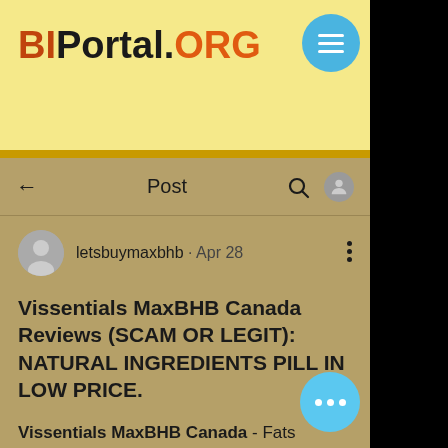BIPortal.ORG
Vissentials MaxBHB Canada Reviews (SCAM OR LEGIT): NATURAL INGREDIENTS PILL IN LOW PRICE.
Vissentials MaxBHB Canada - Fats gathered in the body can grow body weight and a couple issues. They moreover give a horrible shape to the figure. Numerous